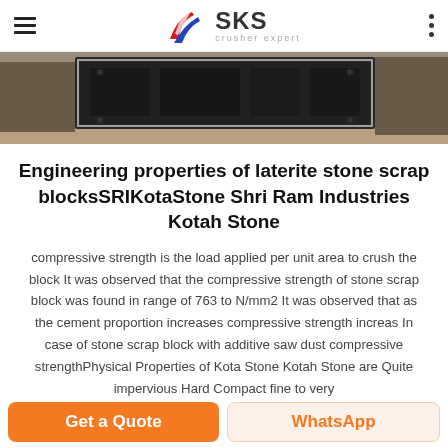SKS crusher expert
[Figure (photo): Industrial crusher machinery photographed in a warehouse/factory setting, dark heavy equipment visible against a lighter background]
Engineering properties of laterite stone scrap blocksSRIKotaStone Shri Ram Industries Kotah Stone
compressive strength is the load applied per unit area to crush the block It was observed that the compressive strength of stone scrap block was found in range of 763 to N/mm2 It was observed that as the cement proportion increases compressive strength increas In case of stone scrap block with additive saw dust compressive strengthPhysical Properties of Kota Stone Kotah Stone are Quite impervious Hard Compact fine to very